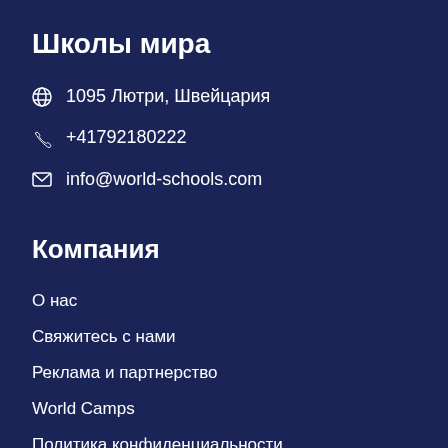Школы мира
🌐 1095 Лютри, Швейцария
📞 +41792180222
✉ info@world-schools.com
Компания
О нас
Свяжитесь с нами
Реклама и партнерство
World Camps
Политика конфиденциальности